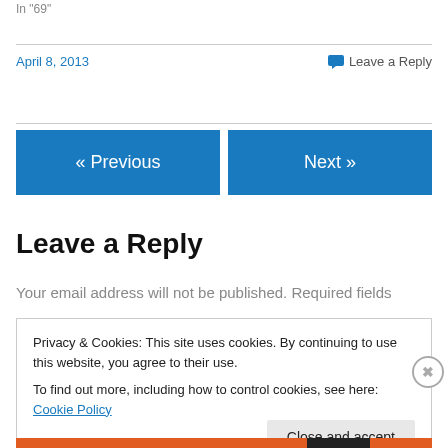In "69"
April 8, 2013
Leave a Reply
« Previous
Next »
Leave a Reply
Your email address will not be published. Required fields
Privacy & Cookies: This site uses cookies. By continuing to use this website, you agree to their use.
To find out more, including how to control cookies, see here: Cookie Policy
Close and accept